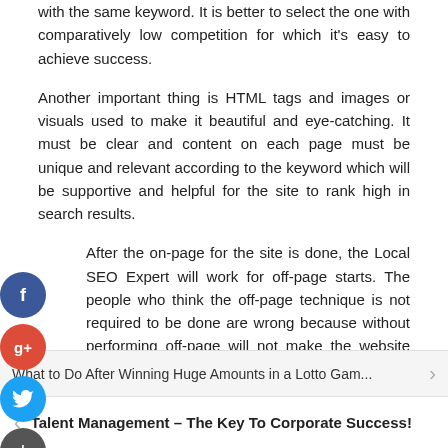with the same keyword. It is better to select the one with comparatively low competition for which it's easy to achieve success.
Another important thing is HTML tags and images or visuals used to make it beautiful and eye-catching. It must be clear and content on each page must be unique and relevant according to the keyword which will be supportive and helpful for the site to rank high in search results.
After the on-page for the site is done, the Local SEO Expert will work for off-page starts. The people who think the off-page technique is not required to be done are wrong because without performing off-page will not make the website rank in the top search result of major search engines. It's never enough just to make a site and submit it to the server.
[Figure (illustration): Social share icons: Facebook (blue circle with f), Google+ (red circle with g+), Twitter (blue circle with bird), and a dark plus circle stacked vertically on the left side of the page]
What to Do After Winning Huge Amounts in a Lotto Gam...
Talent Management – The Key To Corporate Success!